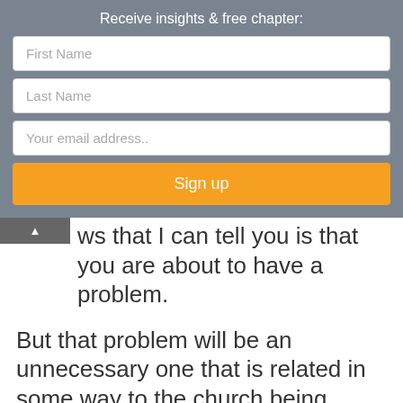Receive insights & free chapter:
First Name
Last Name
Your email address..
Sign up
ws that I can tell you is that you are about to have a problem.
But that problem will be an unnecessary one that is related in some way to the church being stuck, not making progress.